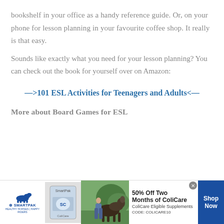bookshelf in your office as a handy reference guide. Or, on your phone for lesson planning in your favourite coffee shop. It really is that easy.
Sounds like exactly what you need for your lesson planning? You can check out the book for yourself over on Amazon:
—>101 ESL Activities for Teenagers and Adults<—
More about Board Games for ESL
[Figure (other): SmartPak advertisement banner: 50% Off Two Months of ColiCare. ColiCare Eligible Supplements. CODE: COLICARE10. Shop Now button. Features SmartPak logo with horse, product image, and photo of woman with horse.]